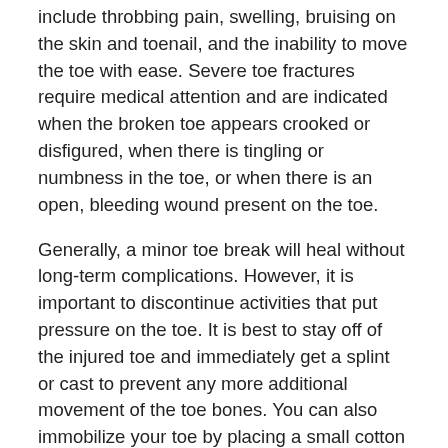include throbbing pain, swelling, bruising on the skin and toenail, and the inability to move the toe with ease. Severe toe fractures require medical attention and are indicated when the broken toe appears crooked or disfigured, when there is tingling or numbness in the toe, or when there is an open, bleeding wound present on the toe.
Generally, a minor toe break will heal without long-term complications. However, it is important to discontinue activities that put pressure on the toe. It is best to stay off of the injured toe and immediately get a splint or cast to prevent any more additional movement of the toe bones. You can also immobilize your toe by placing a small cotton ball between the injured toe and the toe beside it. Then, tape the two toes together with medical tape. Swelling can be alleviated by placing an ice pack on the broken toe directly as well as elevating your feet above your head.